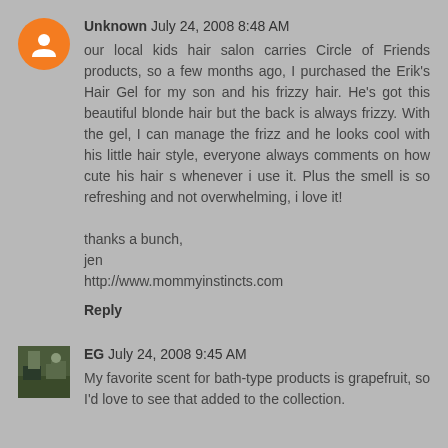[Figure (illustration): Orange circular blogger avatar icon with white person silhouette]
Unknown July 24, 2008 8:48 AM
our local kids hair salon carries Circle of Friends products, so a few months ago, I purchased the Erik's Hair Gel for my son and his frizzy hair. He's got this beautiful blonde hair but the back is always frizzy. With the gel, I can manage the frizz and he looks cool with his little hair style, everyone always comments on how cute his hair s whenever i use it. Plus the smell is so refreshing and not overwhelming, i love it!

thanks a bunch,
jen
http://www.mommyinstincts.com
Reply
[Figure (photo): Small square photo avatar for user EG showing outdoor scene]
EG July 24, 2008 9:45 AM
My favorite scent for bath-type products is grapefruit, so I'd love to see that added to the collection.